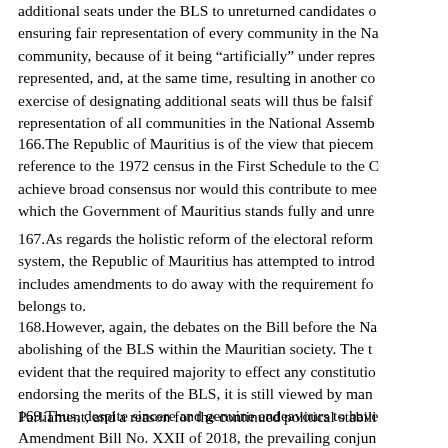additional seats under the BLS to unreturned candidates o... ensuring fair representation of every community in the Na... community, because of it being “artificially” under repres... represented, and, at the same time, resulting in another co... exercise of designating additional seats will thus be falsif... representation of all communities in the National Assemb...
166.The Republic of Mauritius is of the view that piecem... reference to the 1972 census in the First Schedule to the C... achieve broad consensus nor would this contribute to mee... which the Government of Mauritius stands fully and unre...
167.As regards the holistic reform of the electoral reform... system, the Republic of Mauritius has attempted to introd... includes amendments to do away with the requirement fo... belongs to.
168.However, again, the debates on the Bill before the Na... abolishing of the BLS within the Mauritian society. The t... evident that the required majority to effect any constitutio... endorsing the merits of the BLS, it is still viewed by man... Parliament, and a reason for the continued political stabili...
169.Thus, despite sincere and genuine endeavours to have... Amendment Bill No. XXII of 2018, the prevailing conjun... it would let abolishing abolition of some of the above...